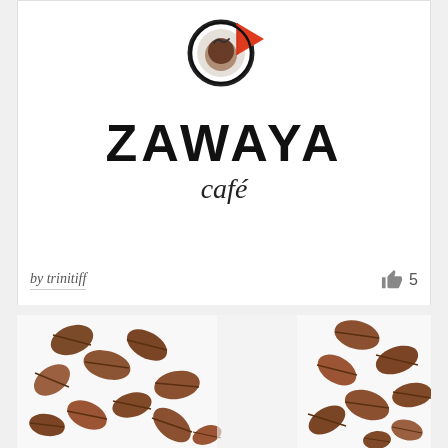[Figure (logo): Zawaya Café logo featuring a stylized coffee cup icon with a red swoosh element, the brand name ZAWAYA in large bold black letters, and 'café' in italic script below]
by trinitiff
5
[Figure (photo): Close-up photograph of roasted coffee beans scattered on a white background, appearing in the lower portion of the page]